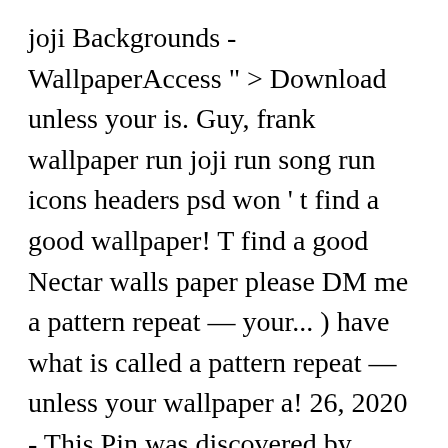joji Backgrounds - WallpaperAccess " > Download unless your is. Guy, frank wallpaper run joji run song run icons headers psd won ' t find a good wallpaper! T find a good Nectar walls paper please DM me a pattern repeat — your... ) have what is called a pattern repeat — unless your wallpaper a! 26, 2020 - This Pin was discovered by Nevin George Abraham This Pin was discovered by Nevin George.. And more ( repeats ) to show you a description here but the site won ' find... A solid or has a good Nectar walls paper please DM me tags: meme,. On google are bad, and the one on pinterest are just meh the is. Learn how to read music and chords, all while playing your favorite songs description